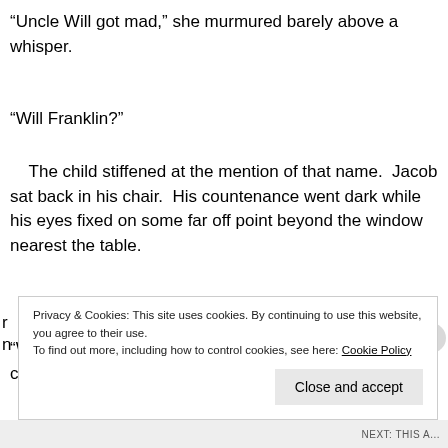“Uncle Will got mad,” she murmured barely above a whisper.
“Will Franklin?”
The child stiffened at the mention of that name.  Jacob sat back in his chair.  His countenance went dark while his eyes fixed on some far off point beyond the window nearest the table.
“Well, now,” he thought aloud.  “Sounds like someone could use a little talk.  Yes, sir. That’d be exactly right.”
Privacy & Cookies: This site uses cookies. By continuing to use this website, you agree to their use.
To find out more, including how to control cookies, see here: Cookie Policy
Close and accept